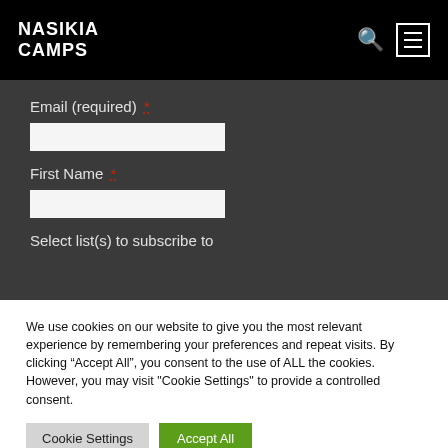NASIKIA CAMPS
Email (required) *
First Name *
Select list(s) to subscribe to
We use cookies on our website to give you the most relevant experience by remembering your preferences and repeat visits. By clicking “Accept All”, you consent to the use of ALL the cookies. However, you may visit "Cookie Settings" to provide a controlled consent.
Cookie Settings | Accept All